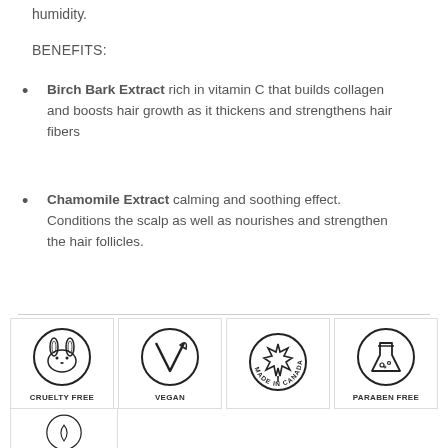humidity.
BENEFITS:
Birch Bark Extract rich in vitamin C that builds collagen and boosts hair growth as it thickens and strengthens hair fibers
Chamomile Extract calming and soothing effect. Conditions the scalp as well as nourishes and strengthen the hair follicles.
[Figure (illustration): Four certification badges in a row: Cruelty Free (rabbit icon), Vegan (leaf V icon), Made in Canada (maple leaf icon), Paraben Free (flask icon). Below that, a partial fifth badge visible at bottom.]